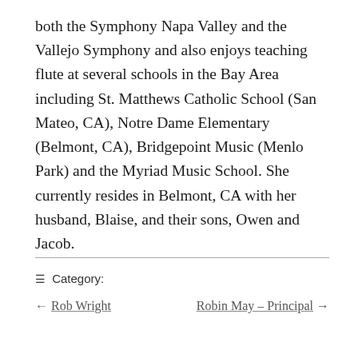both the Symphony Napa Valley and the Vallejo Symphony and also enjoys teaching flute at several schools in the Bay Area including St. Matthews Catholic School (San Mateo, CA), Notre Dame Elementary (Belmont, CA), Bridgepoint Music (Menlo Park) and the Myriad Music School. She currently resides in Belmont, CA with her husband, Blaise, and their sons, Owen and Jacob.
≡ Category:
← Rob Wright   Robin May – Principal →